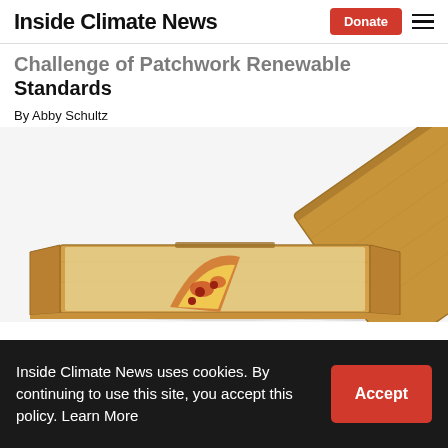Inside Climate News
Challenge of Patchwork Renewable Standards
By Abby Schultz
[Figure (photo): Open cardboard pizza box with a single slice of pizza visible inside, lid propped open, on a white background.]
Inside Climate News uses cookies. By continuing to use this site, you accept this policy. Learn More